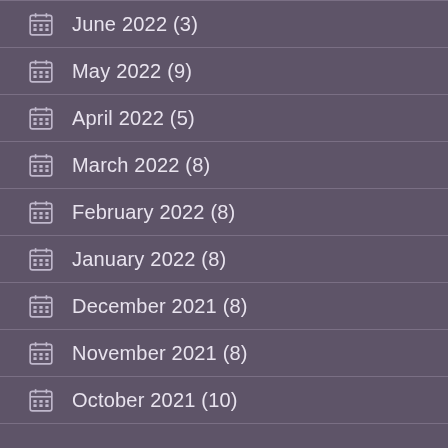June 2022 (3)
May 2022 (9)
April 2022 (5)
March 2022 (8)
February 2022 (8)
January 2022 (8)
December 2021 (8)
November 2021 (8)
October 2021 (10)